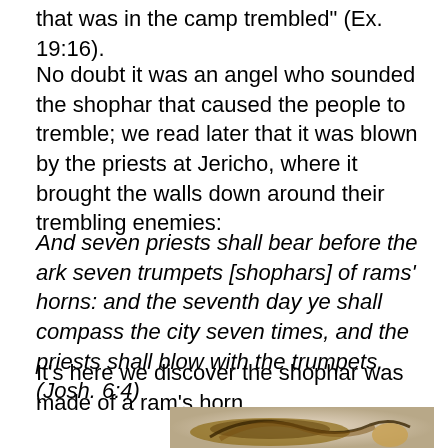that was in the camp trembled" (Ex. 19:16).
No doubt it was an angel who sounded the shophar that caused the people to tremble; we read later that it was blown by the priests at Jericho, where it brought the walls down around their trembling enemies:
And seven priests shall bear before the ark seven trumpets [shophars] of rams' horns: and the seventh day ye shall compass the city seven times, and the priests shall blow with the trumpets. (Josh. 6:4)
It's here we discover the shophar was made of a ram's horn.
[Figure (photo): A photograph of a ram's horn shophar instrument against a light background.]